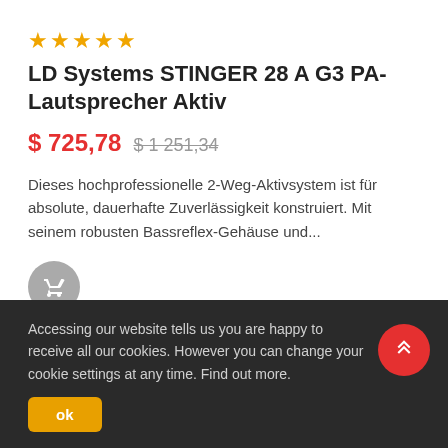[Figure (other): Five gold star rating icons]
LD Systems STINGER 28 A G3 PA-Lautsprecher Aktiv
$ 725,78   $ 1 251,34
Dieses hochprofessionelle 2-Weg-Aktivsystem ist für absolute, dauerhafte Zuverlässigkeit konstruiert. Mit seinem robusten Bassreflex-Gehäuse und...
[Figure (illustration): Shopping cart icon button (grey circular button)]
In stock
Accessing our website tells us you are happy to receive all our cookies. However you can change your cookie settings at any time. Find out more.
ok